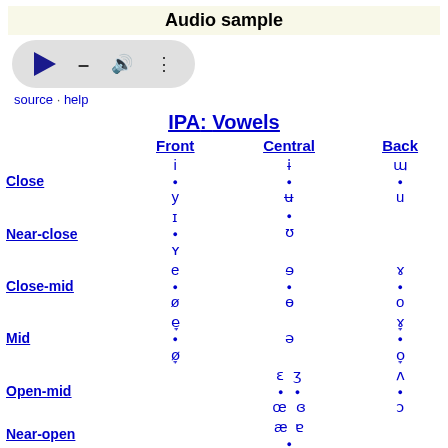Audio sample
[Figure (other): Audio player widget with play button, dash, volume icon, and three-dot menu button]
source · help
IPA: Vowels
|  | Front | Central | Back |
| --- | --- | --- | --- |
| Close | i • / y | ɨ • / ʉ | ɯ • / u |
| Near-close | ɪ • / ʏ | •  ʊ |  |
| Close-mid | e • / ø | ɘ • / ɵ | ɤ • / o |
| Mid | e̞ • / ø̞ | ə | ɤ̞ • / o̞ |
| Open-mid |  | ɛ • / œ  3 • / ɞ | ʌ • / ɔ |
| Near-open |  | æ • / ɐ |  |
| Open |  | a • / ɶ | ɑ • / ɒ |